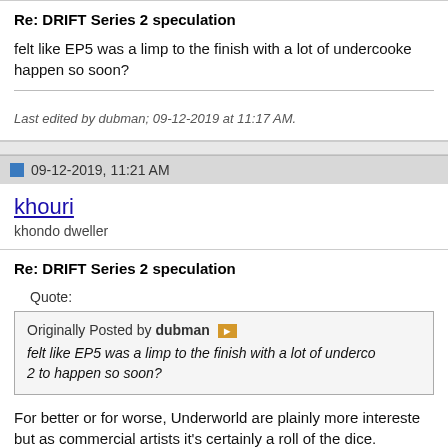Re: DRIFT Series 2 speculation
felt like EP5 was a limp to the finish with a lot of undercooked happen so soon?
Last edited by dubman; 09-12-2019 at 11:17 AM.
09-12-2019, 11:21 AM
khouri
khondo dweller
Re: DRIFT Series 2 speculation
Quote:
Originally Posted by dubman
felt like EP5 was a limp to the finish with a lot of underco 2 to happen so soon?
For better or for worse, Underworld are plainly more intereste but as commercial artists it's certainly a roll of the dice.